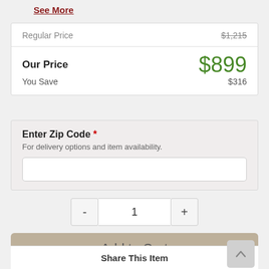See More
| Regular Price | $1,215 |
| Our Price | $899 |
| You Save | $316 |
Enter Zip Code * For delivery options and item availability.
- 1 +
Add to Cart
Share This Item